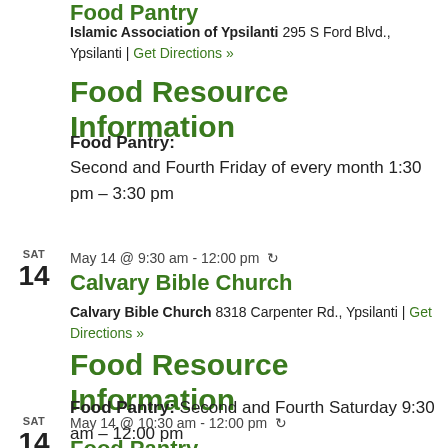Food Pantry
Islamic Association of Ypsilanti 295 S Ford Blvd., Ypsilanti | Get Directions »
Food Resource Information
Food Pantry: Second and Fourth Friday of every month 1:30 pm – 3:30 pm
SAT 14   May 14 @ 9:30 am - 12:00 pm ↺
Calvary Bible Church
Calvary Bible Church 8318 Carpenter Rd., Ypsilanti | Get Directions »
Food Resource Information
Food Pantry: Second and Fourth Saturday 9:30 am – 12:00 pm
SAT 14   May 14 @ 10:30 am - 12:00 pm ↺
Food Pantry